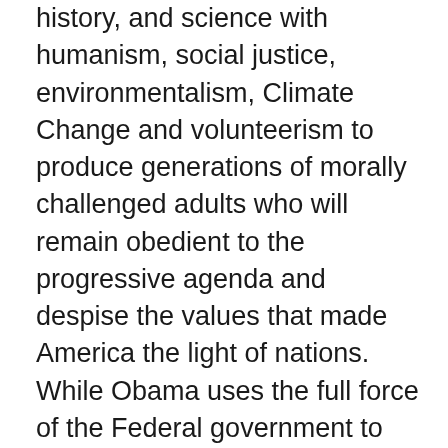history, and science with humanism, social justice, environmentalism, Climate Change and volunteerism to produce generations of morally challenged adults who will remain obedient to the progressive agenda and despise the values that made America the light of nations. While Obama uses the full force of the Federal government to force acceptance of his policies, the majority of Americans are appalled by mixed gender bathrooms, LGBT education beginning in elementary school, Muslim students being allowed to practice their religion in public schools while all other religion is completely banned, the introduction of women and transsexuals into combat units of the US military, and the deliberate destruction of the oil industry and the coal industry when green energy is still 30 to 50 years away from selling for less than it costs. If we remove the facade of political deceit, the last seven years under Obama has been used by a small group of ultra